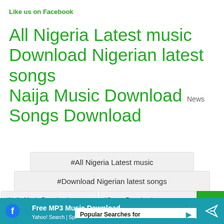Like us on Facebook
All Nigeria Latest music Download Nigerian latest songs Naija Music Download News Songs Download
#All Nigeria Latest music
#Download Nigerian latest songs
#Naija Music Download  #Songs Download
Popular Searches for
Mp3 Download Song →
Free MP3 Music Download →
Yahoo! Search | Sponsored